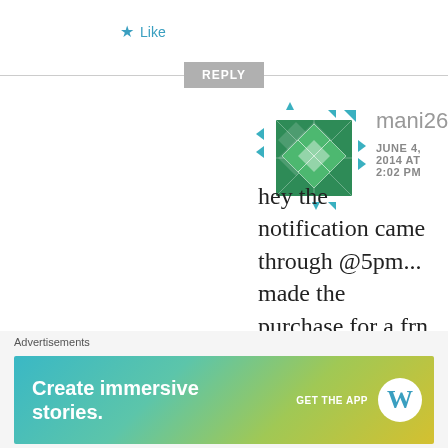★ Like
REPLY
[Figure (illustration): Geometric avatar with green diamond/star quilt pattern with teal arrow accents]
mani2604
JUNE 4, 2014 AT 2:02 PM
hey the notification came through @5pm... made the purchase for a frn at 8pm..
★ Like
Advertisements
[Figure (screenshot): WordPress advertisement banner: Create immersive stories. GET THE APP with WordPress logo]